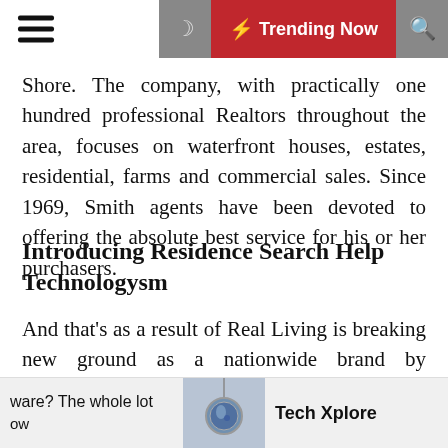Trending Now
Shore. The company, with practically one hundred professional Realtors throughout the area, focuses on waterfront houses, estates, residential, farms and commercial sales. Since 1969, Smith agents have been devoted to offering the absolute best service for his or her purchasers.
Introducing Residence Search Help Technologysm
And that’s as a result of Real Living is breaking new ground as a nationwide brand by constructing on the energy of our local community members. “Cecilia was very detailed and communicated often so we were very happy together with her efficiency, integrity, and buyer interplay. We would undoubtedly advocate her and use her once more for any of our real estate wants.” Zillow
ware? The whole lot
ow
Tech Xplore